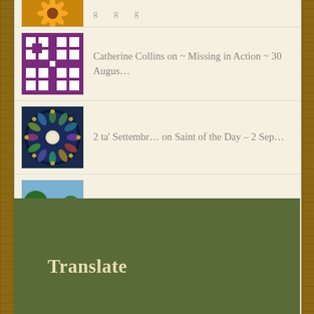Catherine Collins on ~ Missing in Action ~ 30 Augus…
2 ta' Settembr… on Saint of the Day – 2 Sep…
Jane Mullikin on ~ Missing in Action ~ 30 Augus…
hughie1 on ~ Missing in Action ~ 30 Augus…
Translate